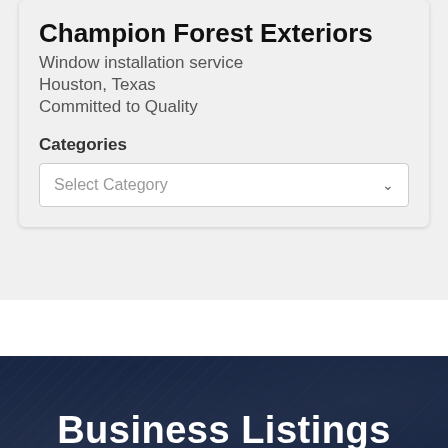Champion Forest Exteriors
Window installation service
Houston, Texas
Committed to Quality
Categories
Select Category
Business Listings